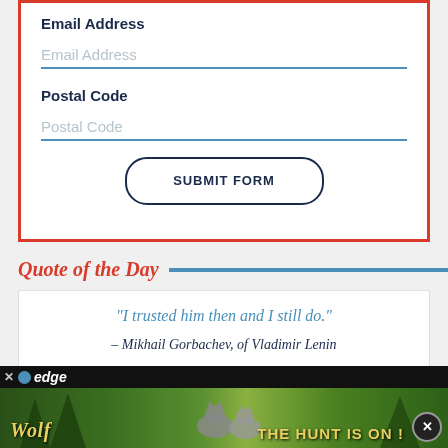Email Address
Email Address (placeholder)
Postal Code
Postal Code (placeholder)
SUBMIT FORM
Quote of the Day
“I trusted him then and I still do.”
– Mikhail Gorbachev, of Vladimir Lenin
[Figure (screenshot): Advertisement banner showing 'Wolf' and 'The Hunt Is On!' text overlaid on a nature/forest background image with cats visible. Edge browser ad bar with close button.]